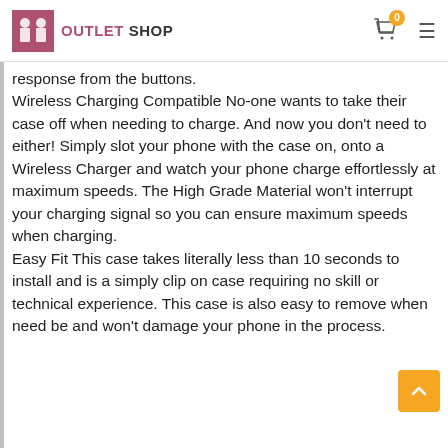OUTLET SHOP
response from the buttons. Wireless Charging Compatible No-one wants to take their case off when needing to charge. And now you don't need to either! Simply slot your phone with the case on, onto a Wireless Charger and watch your phone charge effortlessly at maximum speeds. The High Grade Material won't interrupt your charging signal so you can ensure maximum speeds when charging. Easy Fit This case takes literally less than 10 seconds to install and is a simply clip on case requiring no skill or technical experience. This case is also easy to remove when need be and won't damage your phone in the process.